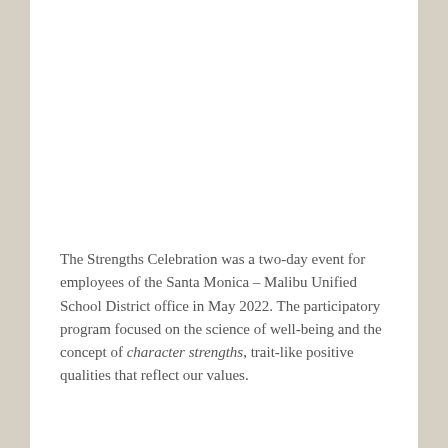The Strengths Celebration was a two-day event for employees of the Santa Monica – Malibu Unified School District office in May 2022. The participatory program focused on the science of well-being and the concept of character strengths, trait-like positive qualities that reflect our values.
Continue reading →